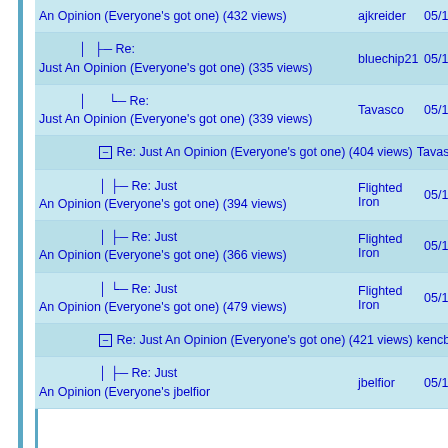| Title | User | Date |
| --- | --- | --- |
| An Opinion (Everyone's got one) (432 views) | ajkreider | 05/17/2022 1... |
| Re: Just An Opinion (Everyone's got one) (335 views) | bluechip21 | 05/18/2022 0... |
| Re: Just An Opinion (Everyone's got one) (339 views) | Tavasco | 05/18/2022 1... |
| Re: Just An Opinion (Everyone's got one) (404 views) | Tavasco | 05/11/2022 0... |
| Re: Just An Opinion (Everyone's got one) (394 views) | Flighted Iron | 05/11/2022 0... |
| Re: Just An Opinion (Everyone's got one) (366 views) | Flighted Iron | 05/11/2022 0... |
| Re: Just An Opinion (Everyone's got one) (479 views) | Flighted Iron | 05/11/2022 0... |
| Re: Just An Opinion (Everyone's got one) (421 views) | kencbs | 05/13/2022 0... |
| Re: Just An Opinion (Everyone's... | jbelfior | 05/13/2022 0... |